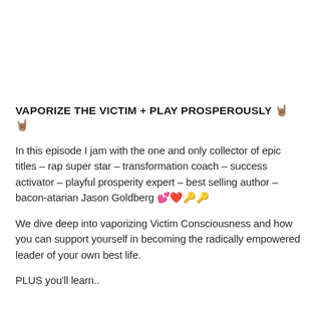VAPORIZE THE VICTIM + PLAY PROSPEROUSLY 🤘🤘
In this episode I jam with the one and only collector of epic titles – rap super star – transformation coach – success activator – playful prosperity expert – best selling author – bacon-atarian Jason Goldberg 💕❤️🔑🔑
We dive deep into vaporizing Victim Consciousness and how you can support yourself in becoming the radically empowered leader of your own best life.
PLUS you'll learn..